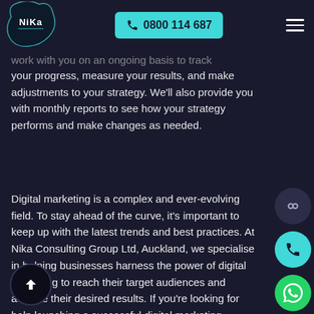NiKa | 0800 114 687
work with you on an ongoing basis to track your progress, measure your results, and make adjustments to your strategy. We'll also provide you with monthly reports to see how your strategy performs and make changes as needed.
Digital marketing is a complex and ever-evolving field. To stay ahead of the curve, it's important to keep up with the latest trends and best practices. At Nika Consulting Group Ltd, Auckland, we specialise in helping businesses harness the power of digital marketing to reach their target audiences and achieve their desired results. If you're looking for help launching a successful digital marketing campaign, contact us with a call on 09 363 3730 or 0800114687 or visit our website